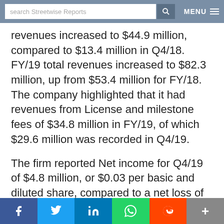search Streetwise Reports | MENU
revenues increased to $44.9 million, compared to $13.4 million in Q4/18. FY/19 total revenues increased to $82.3 million, up from $53.4 million for FY/18. The company highlighted that it had revenues from License and milestone fees of $34.8 million in FY/19, of which $29.6 million was recorded in Q4/19.
The firm reported Net income for Q4/19 of $4.8 million, or $0.03 per basic and diluted share, compared to a net loss of $(41.8) million, or $(0.28) per basic and diluted share in Q4/18 and a Net loss for FY/19 of $(104.1)
f  Twitter  in  WhatsApp  Reddit  +